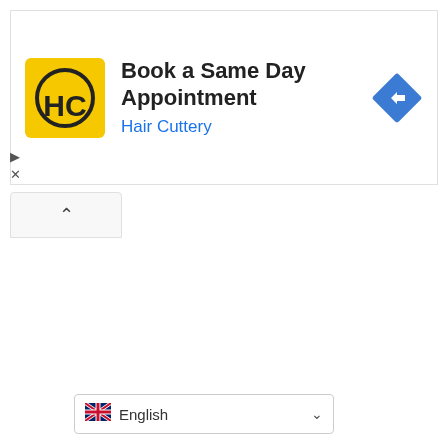[Figure (screenshot): Advertisement banner for Hair Cuttery with yellow HC logo, text 'Book a Same Day Appointment' and 'Hair Cuttery', and a blue navigation diamond icon on the right. Below the banner is a collapse tab with an upward chevron. At the bottom is a language selector showing 'English' with a UK flag.]